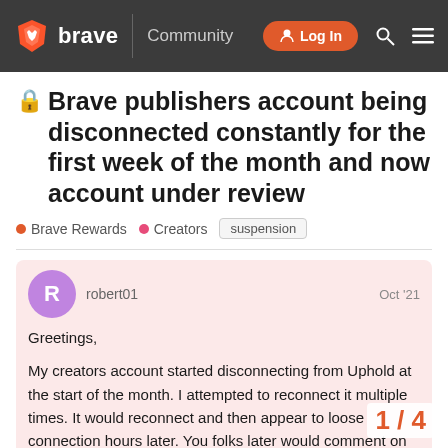brave Community | Log In
🔒 Brave publishers account being disconnected constantly for the first week of the month and now account under review
Brave Rewards • Creators • suspension
robert01 Oct '21
Greetings,

My creators account started disconnecting from Uphold at the start of the month. I attempted to reconnect it multiple times. It would reconnect and then appear to loose connection hours later. You folks later would comment on the forums about the is... appear to have fixed it.
1 / 4